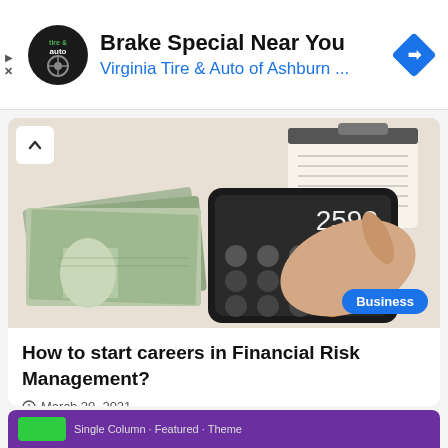[Figure (other): Advertisement banner for Virginia Tire & Auto of Ashburn with circular logo, bold headline 'Brake Special Near You', blue subtext 'Virginia Tire & Auto of Ashburn ...', and blue diamond navigation arrow icon on the right. Play and X icons on the far left.]
[Figure (photo): Photo of US dollar bills and a smartphone calculator app showing '2598' on the screen, with a hand pressing the calculator buttons. A notebook is visible in the upper right. A blue 'Business' tag is overlaid in the lower right corner.]
How to start careers in Financial Risk Management?
March 20, 2021
[Figure (other): Partial purple card with a green button visible at the bottom of the page.]